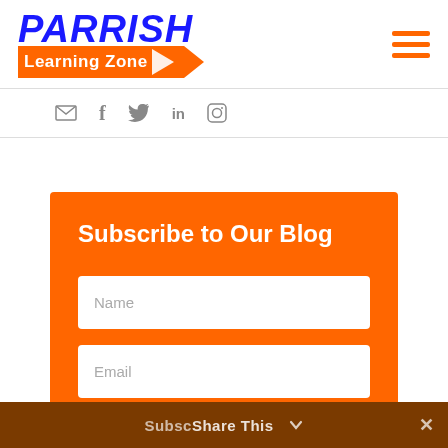[Figure (logo): Parrish Learning Zone logo with blue bold italic PARRISH text and orange pencil-banner Learning Zone text with navigation hamburger menu icon in orange]
[Figure (infographic): Social media icons row: email envelope, Facebook f, Twitter bird, LinkedIn in, Instagram camera]
Subscribe to Our Blog
Name
Email
Subscribe